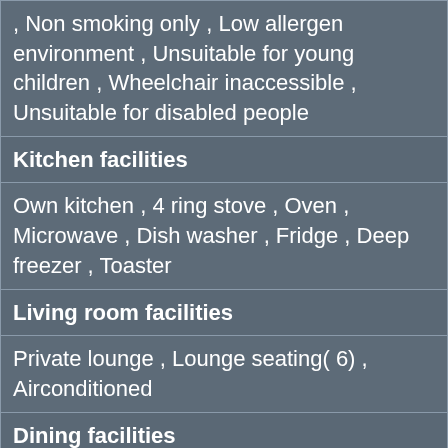| , Non smoking only , Low allergen environment , Unsuitable for young children , Wheelchair inaccessible , Unsuitable for disabled people |
| Kitchen facilities |
| Own kitchen , 4 ring stove , Oven , Microwave , Dish washer , Fridge , Deep freezer , Toaster |
| Living room facilities |
| Private lounge , Lounge seating( 6) , Airconditioned |
| Dining facilities |
| Dining area , Seating for ( 6) |
| Sleeping |
| Sleeps a maximum of ( 6) , Linen provided , Total sleeping rooms ( 3) , Double bed room(s) ( 1) , Twin bedroom(s) ( 2) , Bed(s) 1 pers 90 cm( 4) , King size bed 180 x 200 cm( 1) , air conditioning |
| Bathrooms |